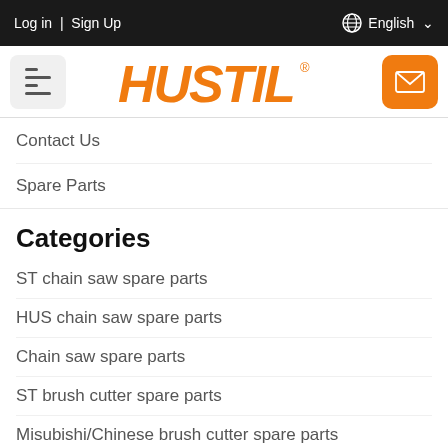Log in | Sign Up    English
[Figure (logo): HUSTIL brand logo in orange italic bold font with registered trademark symbol, flanked by a hamburger menu button on the left and an orange email/envelope button on the right]
Contact Us
Spare Parts
Categories
ST chain saw spare parts
HUS chain saw spare parts
Chain saw spare parts
ST brush cutter spare parts
Misubishi/Chinese brush cutter spare parts
Brush Cutter spare parts
Generator and General Engine Spare Parts